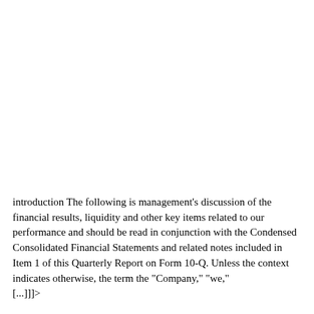introduction The following is management's discussion of the financial results, liquidity and other key items related to our performance and should be read in conjunction with the Condensed Consolidated Financial Statements and related notes included in Item 1 of this Quarterly Report on Form 10-Q. Unless the context indicates otherwise, the term the "Company," "we," [...]]>